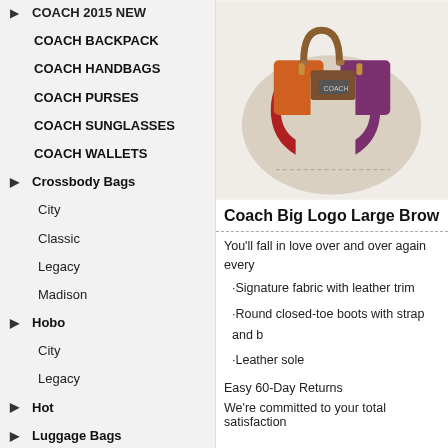COACH 2015 NEW
COACH BACKPACK
COACH HANDBAGS
COACH PURSES
COACH SUNGLASSES
COACH WALLETS
Crossbody Bags
City
Classic
Legacy
Madison
Hobo
City
Legacy
Hot
Luggage Bags
Legacy
Madison
Satchels
[Figure (photo): Coach Big Logo Large handbag with multicolor signature C pattern in brown, orange, red, purple, and cream with leather trim and handles]
Coach Big Logo Large Brow
You'll fall in love over and over again every
·Signature fabric with leather trim
·Round closed-toe boots with strap and b
·Leather sole
Easy 60-Day Returns
We're committed to your total satisfaction